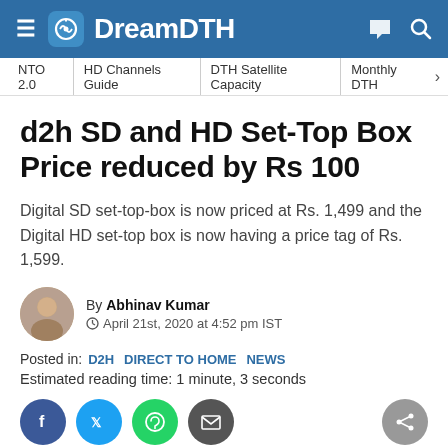DreamDTH
NTO 2.0 | HD Channels Guide | DTH Satellite Capacity | Monthly DTH
d2h SD and HD Set-Top Box Price reduced by Rs 100
Digital SD set-top-box is now priced at Rs. 1,499 and the Digital HD set-top box is now having a price tag of Rs. 1,599.
By Abhinav Kumar
© April 21st, 2020 at 4:52 pm IST
Posted in: D2H DIRECT TO HOME NEWS
Estimated reading time: 1 minute, 3 seconds